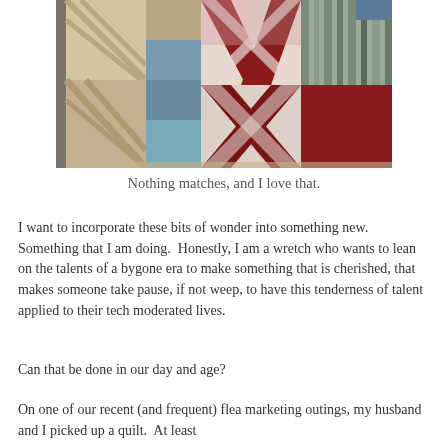[Figure (photo): Close-up photograph of a vintage patchwork quilt with various mismatched fabric patterns including plaids, stripes, and prints in red, blue, pink, cream, and brown tones, showing X and geometric block designs.]
Nothing matches, and I love that.
I want to incorporate these bits of wonder into something new.  Something that I am doing.  Honestly, I am a wretch who wants to lean on the talents of a bygone era to make something that is cherished, that makes someone take pause, if not weep, to have this tenderness of talent applied to their tech moderated lives.
Can that be done in our day and age?
On one of our recent (and frequent) flea marketing outings, my husband and I picked up a quilt.  At least